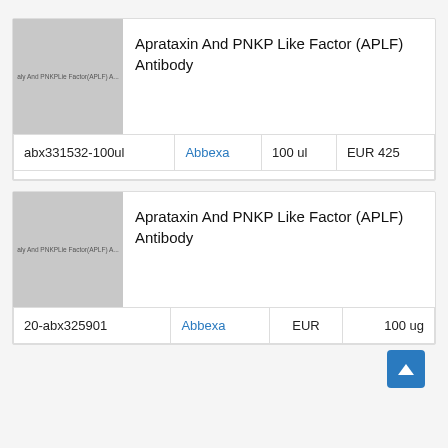[Figure (photo): Placeholder product image for Aprataxin And PNKP Like Factor (APLF) Antibody, gray square with watermark text]
Aprataxin And PNKP Like Factor (APLF) Antibody
| abx331532-100ul | Abbexa | 100 ul | EUR 425 |
[Figure (photo): Placeholder product image for Aprataxin And PNKP Like Factor (APLF) Antibody, gray square with watermark text]
Aprataxin And PNKP Like Factor (APLF) Antibody
| 20-abx325901 | Abbexa | EUR | 100 ug |